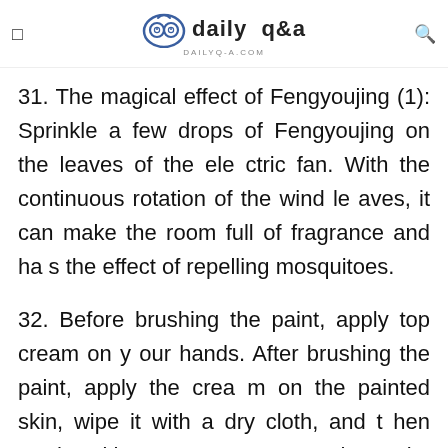daily q&a — DAILYQ-A.COM
31. The magical effect of Fengyoujing (1): Sprinkle a few drops of Fengyoujing on the leaves of the electric fan. With the continuous rotation of the wind leaves, it can make the room full of fragrance and has the effect of repelling mosquitoes.
32. Before brushing the paint, apply top cream on your hands. After brushing the paint, apply the cream on the painted skin, wipe it with a dry cloth, and then wash with soap to remove the paint attached to the skin. .
33. Tofu usually has a bittern flavor. Before putting the tofu in the pot, if you cook it in boiling water for...